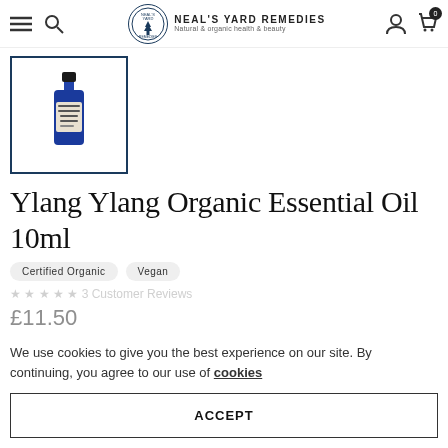Neal's Yard Remedies — Natural & organic health & beauty
[Figure (photo): Small blue glass bottle of Neal's Yard Remedies Ylang Ylang Organic Essential Oil 10ml, shown in a thumbnail with navy blue border]
Ylang Ylang Organic Essential Oil 10ml
Certified Organic
Vegan
We use cookies to give you the best experience on our site. By continuing, you agree to our use of cookies
ACCEPT